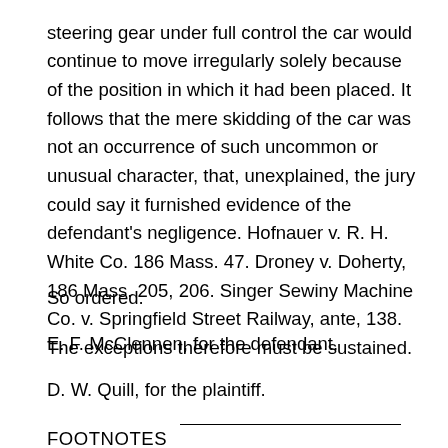steering gear under full control the car would continue to move irregularly solely because of the position in which it had been placed. It follows that the mere skidding of the car was not an occurrence of such uncommon or unusual character, that, unexplained, the jury could say it furnished evidence of the defendant's negligence. Hofnauer v. R. H. White Co. 186 Mass. 47. Droney v. Doherty, 186 Mass. 205, 206. Singer Sewiny Machine Co. v. Springfield Street Railway, ante, 138. The exceptions therefore must be sustained.
So ordered.
E. F. McClennen, for the defendant.
D. W. Quill, for the plaintiff.
FOOTNOTES